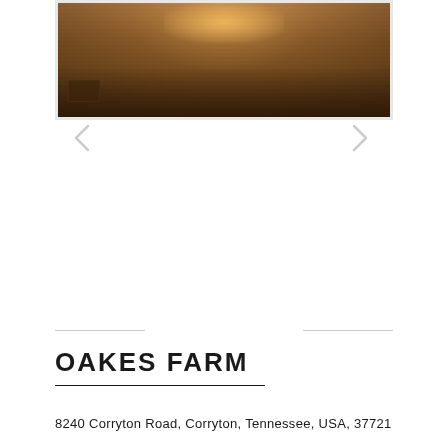[Figure (photo): Landscape/farm photo with warm sepia/golden tones showing a dirt field or ground surface with low sun or glowing light at the horizon, navigation arrows on left and right sides]
OAKES FARM
8240 Corryton Road, Corryton, Tennessee, USA, 37721